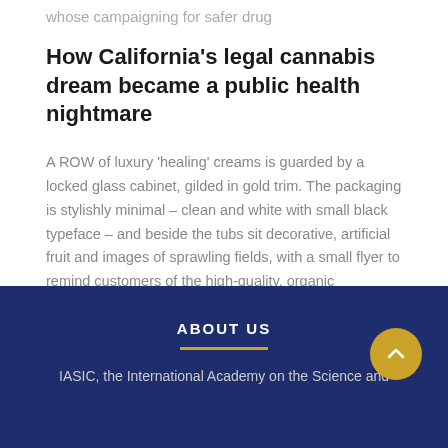whose campaigning for safer drug
How California's legal cannabis dream became a public health nightmare
A ROW of luxury 'healing' creams is guarded by a locked glass cabinet, gilded in gold trim. The packaging is stylishly minimal – clean and white with small black typeface – and beside the tubs sit decorative, artificial fruit and images of sprawling fields, with a small flyer to remind customers of the high-quality, organic
ABOUT US
IASIC, the International Academy on the Science and